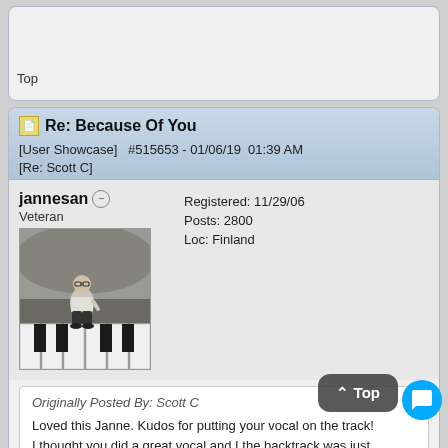Top
Re: Because Of You [User Showcase] #515653 - 01/06/19 01:39 AM
[Re: Scott C]
jannesan
Veteran
[Figure (photo): Profile photo of jannesan: a small figurine of a person sitting on large white keyboard keys, against a blurred background]
Registered: 11/29/06
Posts: 2800
Loc: Finland
Originally Posted By: Scott C

Loved this Janne. Kudos for putting your vocal on the track!
I thought you did a great vocal and I the backtrack was just